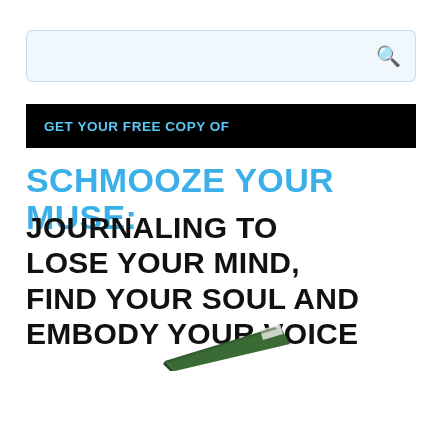[Figure (screenshot): Search bar with light blue background and search icon on the right]
GET YOUR FREE COPY OF
SCHMOOZE YOUR MUSE: JOURNALING TO LOSE YOUR MIND, FIND YOUR SOUL AND EMBODY YOUR VOICE
[Figure (illustration): Partial view of a book cover with green color, partially cropped at bottom]